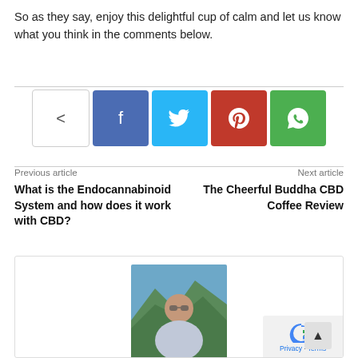So as they say, enjoy this delightful cup of calm and let us know what you think in the comments below.
[Figure (infographic): Social share bar with share icon, Facebook, Twitter, Pinterest, and WhatsApp buttons]
Previous article
What is the Endocannabinoid System and how does it work with CBD?
Next article
The Cheerful Buddha CBD Coffee Review
[Figure (photo): Author photo showing a man in a mountain landscape]